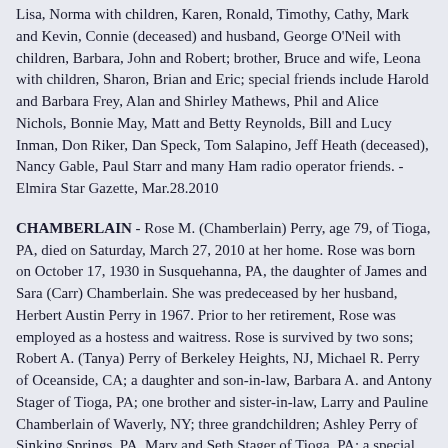Lisa, Norma with children, Karen, Ronald, Timothy, Cathy, Mark and Kevin, Connie (deceased) and husband, George O'Neil with children, Barbara, John and Robert; brother, Bruce and wife, Leona with children, Sharon, Brian and Eric; special friends include Harold and Barbara Frey, Alan and Shirley Mathews, Phil and Alice Nichols, Bonnie May, Matt and Betty Reynolds, Bill and Lucy Inman, Don Riker, Dan Speck, Tom Salapino, Jeff Heath (deceased), Nancy Gable, Paul Starr and many Ham radio operator friends. - Elmira Star Gazette, Mar.28.2010
CHAMBERLAIN - Rose M. (Chamberlain) Perry, age 79, of Tioga, PA, died on Saturday, March 27, 2010 at her home. Rose was born on October 17, 1930 in Susquehanna, PA, the daughter of James and Sara (Carr) Chamberlain. She was predeceased by her husband, Herbert Austin Perry in 1967. Prior to her retirement, Rose was employed as a hostess and waitress. Rose is survived by two sons; Robert A. (Tanya) Perry of Berkeley Heights, NJ, Michael R. Perry of Oceanside, CA; a daughter and son-in-law, Barbara A. and Antony Stager of Tioga, PA; one brother and sister-in-law, Larry and Pauline Chamberlain of Waverly, NY; three grandchildren; Ashley Perry of Sinking Springs, PA, Mary and Seth Stager of Tioga, PA; a special niece, Sylvia Tomlinson of Elmira, NY and several additional nieces and nephews. In addition to her husband, Herbert, she was also predeceased by nine brothers and sisters. A memorial service will be held at a later date.